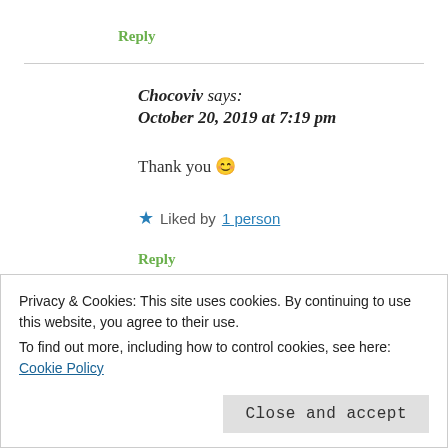Reply
Chocoviv says: October 20, 2019 at 7:19 pm
Thank you 😊
★ Liked by 1 person
Reply
Privacy & Cookies: This site uses cookies. By continuing to use this website, you agree to their use.
To find out more, including how to control cookies, see here: Cookie Policy
Close and accept